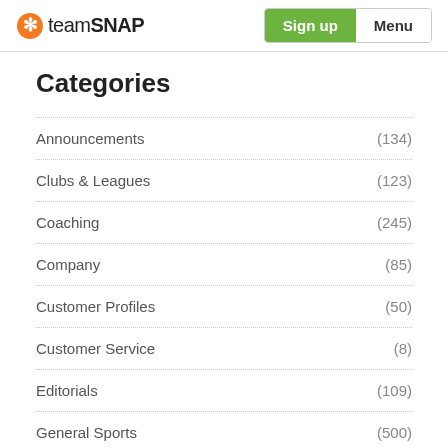teamSNAP | Sign up | Menu
Categories
Announcements (134)
Clubs & Leagues (123)
Coaching (245)
Company (85)
Customer Profiles (50)
Customer Service (8)
Editorials (109)
General Sports (500)
Health and Safety (80)
How To (144)